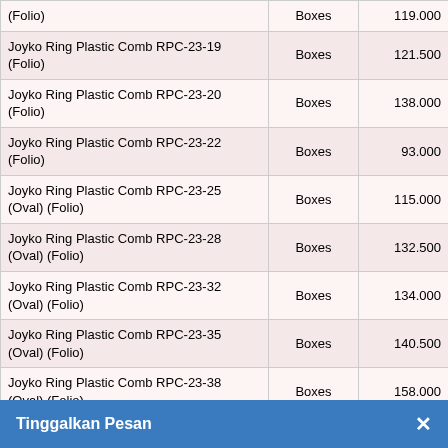| Product | Unit | Price |
| --- | --- | --- |
| (Folio) | Boxes | 119.000 |
| Joyko Ring Plastic Comb RPC-23-19 (Folio) | Boxes | 121.500 |
| Joyko Ring Plastic Comb RPC-23-20 (Folio) | Boxes | 138.000 |
| Joyko Ring Plastic Comb RPC-23-22 (Folio) | Boxes | 93.000 |
| Joyko Ring Plastic Comb RPC-23-25 (Oval) (Folio) | Boxes | 115.000 |
| Joyko Ring Plastic Comb RPC-23-28 (Oval) (Folio) | Boxes | 132.500 |
| Joyko Ring Plastic Comb RPC-23-32 (Oval) (Folio) | Boxes | 134.000 |
| Joyko Ring Plastic Comb RPC-23-35 (Oval) (Folio) | Boxes | 140.500 |
| Joyko Ring Plastic Comb RPC-23-38 (Oval) (Folio) | Boxes | 158.000 |
| Joyko Ring Plastic Comb RPC-23-45 (Oval) (Folio) | Boxes | 172.000 |
| Joyko Ring Plastic Comb RPC-23-51 (Oval) (Folio) | Boxes |  |
Tinggalkan Pesan ×